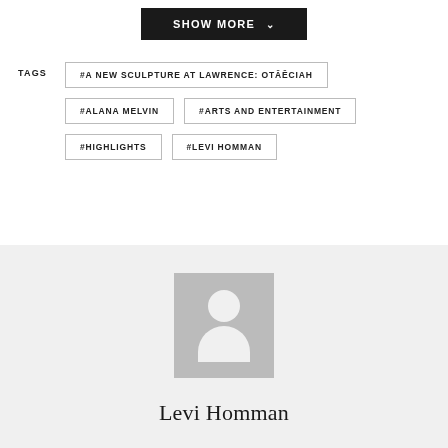SHOW MORE ˅
TAGS
#A NEW SCULPTURE AT LAWRENCE: OTĀĒCIAH
#ALANA MELVIN
#ARTS AND ENTERTAINMENT
#HIGHLIGHTS
#LEVI HOMMAN
[Figure (illustration): Generic user avatar placeholder — grey rectangle with white silhouette of a person (head circle and shoulders arc)]
Levi Homman